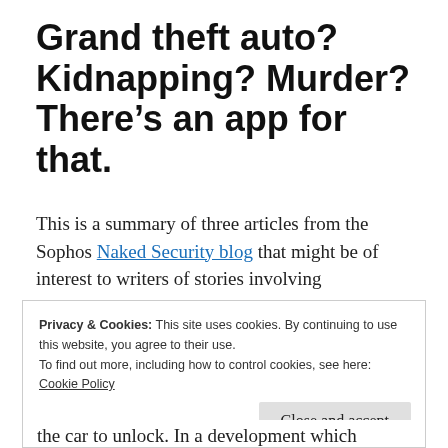Grand theft auto? Kidnapping? Murder? There’s an app for that.
This is a summary of three articles from the Sophos Naked Security blog that might be of interest to writers of stories involving cybercrime.
Privacy & Cookies: This site uses cookies. By continuing to use this website, you agree to their use.
To find out more, including how to control cookies, see here: Cookie Policy
[Close and accept]
the car to unlock. In a development which